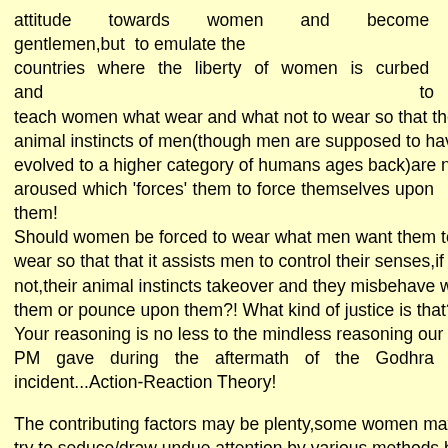attitude towards women and become gentlemen,but to emulate the countries where the liberty of women is curbed and to teach women what wear and what not to wear so that the animal instincts of men(though men are supposed to have evolved to a higher category of humans ages back)are not aroused which 'forces' them to force themselves upon them! Should women be forced to wear what men want them to wear so that that it assists men to control their senses,if not,their animal instincts takeover and they misbehave with them or pounce upon them?! What kind of justice is that?! Your reasoning is no less to the mindless reasoning our ex-PM gave during the aftermath of the Godhra incident...Action-Reaction Theory! The contributing factors may be plenty,some women may try to seduce/draw undue attention by various methods,but is that the justification men should give for not being able to control their senses and misbehave with every other woman and make